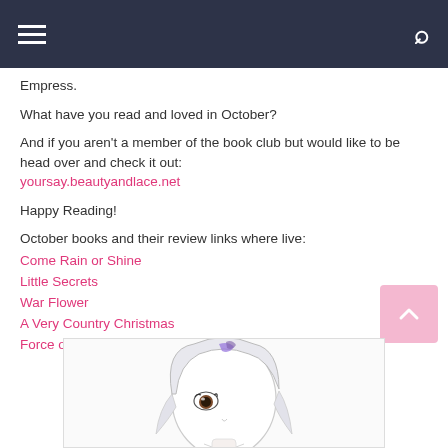Navigation bar with hamburger menu and search icon
Empress.
What have you read and loved in October?
And if you aren't a member of the book club but would like to be head over and check it out: yoursay.beautyandlace.net
Happy Reading!
October books and their review links where live:
Come Rain or Shine
Little Secrets
War Flower
A Very Country Christmas
Force of Nature
[Figure (illustration): Anime-style illustration of a female character with long light hair and purple highlights, partially cropped at bottom of page]